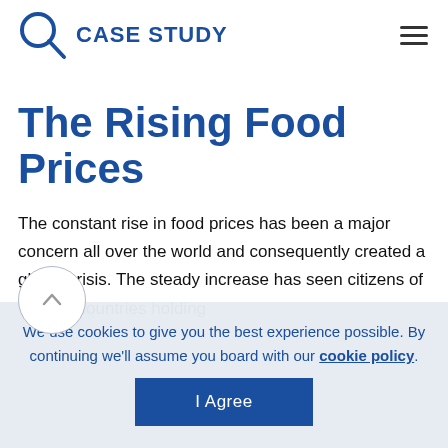CASE STUDY
The Rising Food Prices
The constant rise in food prices has been a major concern all over the world and consequently created a global crisis. The steady increase has seen citizens of various countries holding
We use cookies to give you the best experience possible. By continuing we'll assume you board with our cookie policy.
I Agree